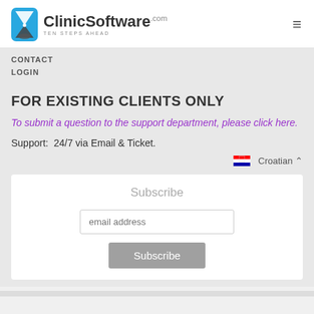[Figure (logo): ClinicSoftware.com logo with hourglass icon and tagline TEN STEPS AHEAD, plus hamburger menu icon]
CONTACT
LOGIN
FOR EXISTING CLIENTS ONLY
To submit a question to the support department, please click here.
Support:  24/7 via Email & Ticket.
Croatian ▲
Subscribe
email address
Subscribe